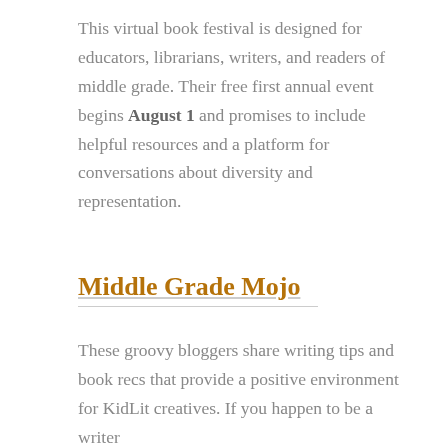This virtual book festival is designed for educators, librarians, writers, and readers of middle grade. Their free first annual event begins August 1 and promises to include helpful resources and a platform for conversations about diversity and representation.
Middle Grade Mojo
These groovy bloggers share writing tips and book recs that provide a positive environment for KidLit creatives. If you happen to be a writer or a reader of middle grade books, this is a great resource for you.